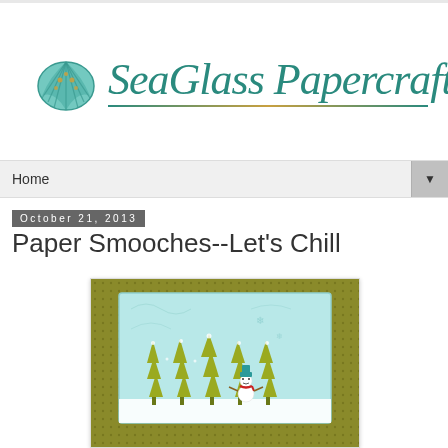SeaGlass Papercrafts
Home
October 21, 2013
Paper Smooches--Let's Chill
[Figure (photo): A handmade greeting card with olive/gold patterned background, featuring a light blue embossed panel with yellow-green die-cut Christmas trees and a small stamped snowman with a teal hat and red scarf.]